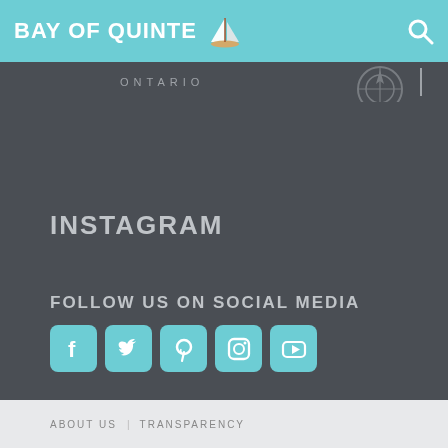BAY OF QUINTE ONTARIO
INSTAGRAM
FOLLOW US ON SOCIAL MEDIA
[Figure (illustration): Five social media icons in teal/cyan rounded squares: Facebook, Twitter, Pinterest, Instagram, YouTube]
ABOUT US   TRANSPARENCY